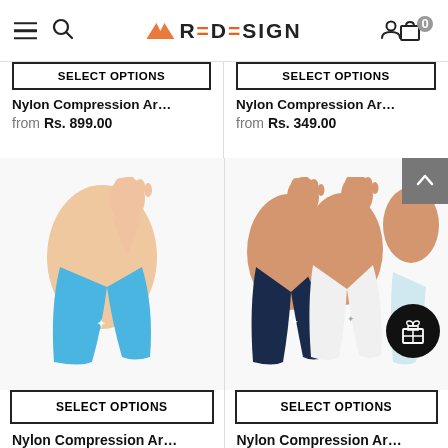REDESIGN — navigation header with menu, search, logo, user, and cart (0 items)
Nylon Compression Ar…
from Rs. 899.00
Nylon Compression Ar…
from Rs. 349.00
[Figure (photo): Blue compression arm sleeve worn on an arm raised upward, white logo on sleeve]
[Figure (photo): Three compression arm sleeves in navy, white, and light colors worn on arms]
SELECT OPTIONS
SELECT OPTIONS
Nylon Compression Ar…
Nylon Compression Ar…